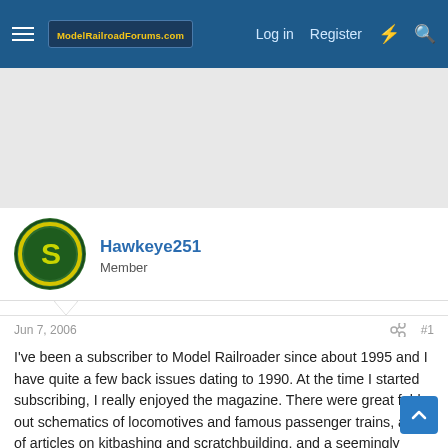ModelRailroadForums.com — Log in  Register
[Figure (screenshot): Advertisement / banner ad placeholder area (gray background)]
Hawkeye251
Member
Jun 7, 2006
#1
I've been a subscriber to Model Railroader since about 1995 and I have quite a few back issues dating to 1990. At the time I started subscribing, I really enjoyed the magazine. There were great fold out schematics of locomotives and famous passenger trains, a lot of articles on kitbashing and scratchbuilding, and a seemingly good variety of era's and scales.